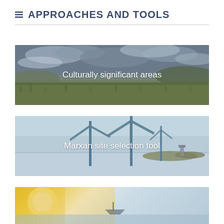APPROACHES AND TOOLS
[Figure (photo): Coastal landscape with cloudy sky, green grass in foreground, hills and water in background. Overlay text: Culturally significant areas]
[Figure (photo): Offshore wind turbines standing in calm water under light blue sky. Overlay text: Marxan site selection tool]
[Figure (photo): Sunset scene with bright sun and warm yellow/orange tones, partially cropped at bottom. Third card partially visible.]